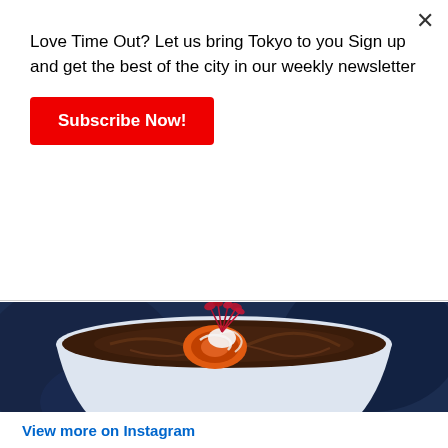Love Time Out? Let us bring Tokyo to you Sign up and get the best of the city in our weekly newsletter
Subscribe Now!
[Figure (photo): A white ceramic bowl of ramen with dark broth, a slice of orange chashu pork, white noodles, and red microgreens garnish, photographed on a dark blue background]
View more on Instagram